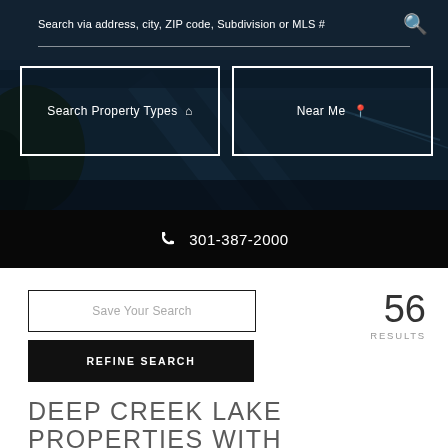[Figure (screenshot): Hero section with lake aerial photo background showing dark blue water, tree silhouette on left, two white-bordered buttons for Search Property Types and Near Me, search bar at top]
Search via address, city, ZIP code, Subdivision or MLS #
Search Property Types
Near Me
301-387-2000
Save Your Search
REFINE SEARCH
56
RESULTS
DEEP CREEK LAKE PROPERTIES WITH LAKE ACCESS